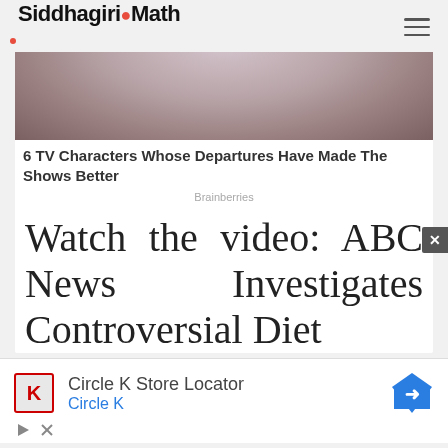Siddhagiri-Math
[Figure (photo): Partial photo of a person wearing a light purple/lavender knit cardigan and necklace, cropped at shoulders, brownish background]
6 TV Characters Whose Departures Have Made The Shows Better
Brainberries
Watch the video: ABC News Investigates Controversial Diet
[Figure (infographic): Advertisement: Circle K Store Locator with Circle K logo and map direction icon]
Circle K Store Locator
Circle K